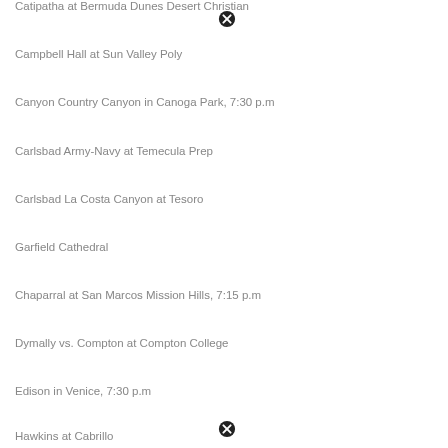Catipatha at Bermuda Dunes Desert Christian
Campbell Hall at Sun Valley Poly
Canyon Country Canyon in Canoga Park, 7:30 p.m
Carlsbad Army-Navy at Temecula Prep
Carlsbad La Costa Canyon at Tesoro
Garfield Cathedral
Chaparral at San Marcos Mission Hills, 7:15 p.m
Dymally vs. Compton at Compton College
Edison in Venice, 7:30 p.m
Hawkins at Cabrillo